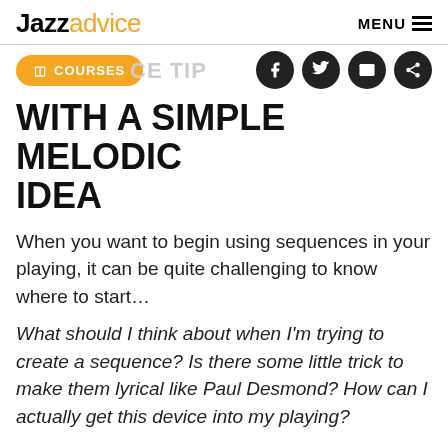Jazzadvice — MENU
COURSES
WITH A SIMPLE MELODIC IDEA
When you want to begin using sequences in your playing, it can be quite challenging to know where to start…
What should I think about when I'm trying to create a sequence? Is there some little trick to make them lyrical like Paul Desmond? How can I actually get this device into my playing?